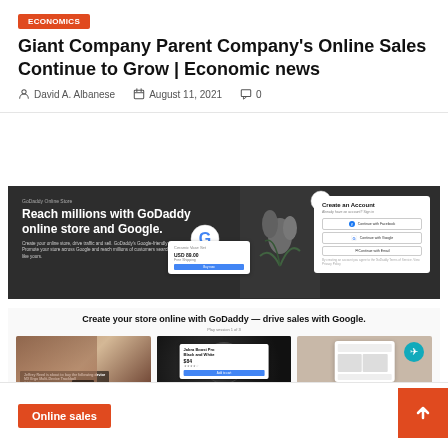Giant Company Parent Company's Online Sales Continue to Grow | Economic news
David A. Albanese   August 11, 2021   0
[Figure (screenshot): GoDaddy online store advertisement banner with dark background. Left side has bold white text: 'Reach millions with GoDaddy online store and Google.' Center shows Google G logo and product card. Right side shows 'Create an Account' panel with social login buttons for Facebook, Google, and Gmail.]
[Figure (screenshot): GoDaddy product showcase advertisement with title 'Create your store online with GoDaddy — drive sales with Google.' Three images shown below: 1. Build your online store (person with laptop), 2. Connect to Google (earbuds product card), 3. Reach millions of customers (mobile phone mockup).]
Online sales